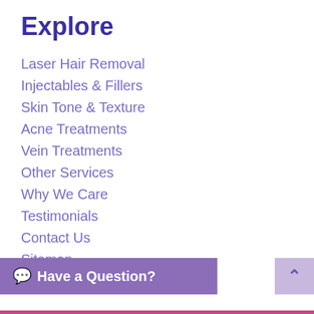Explore
Laser Hair Removal
Injectables & Fillers
Skin Tone & Texture
Acne Treatments
Vein Treatments
Other Services
Why We Care
Testimonials
Contact Us
Sitemap
Privacy
Connect
Stay on top of our new specials, pricing and exciting t.
Have a Question?